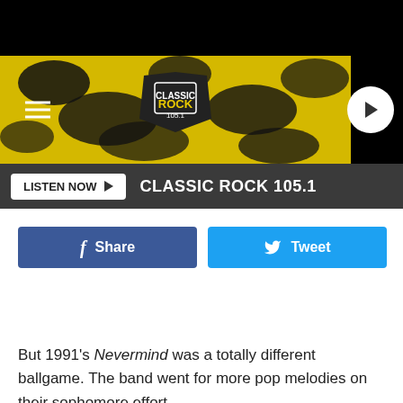[Figure (screenshot): Classic Rock 105.1 radio station website header banner with yellow and black splatter design, hamburger menu icon on left, station logo in center, play button on right]
[Figure (screenshot): Dark grey navigation bar with white 'LISTEN NOW' button with play arrow and 'CLASSIC ROCK 105.1' text]
[Figure (screenshot): Facebook Share button (dark blue) and Twitter Tweet button (light blue) social sharing buttons]
But 1991's Nevermind was a totally different ballgame. The band went for more pop melodies on their sophomore effort,